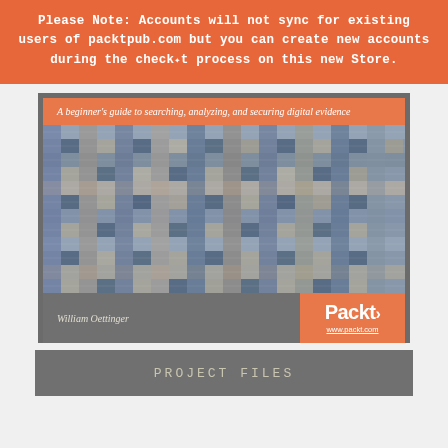Please Note: Accounts will not sync for existing users of packtpub.com but you can create new accounts during the checkout process on this new Store.
[Figure (other): Book cover for a digital forensics book by William Oettinger. Shows a woven fabric/textile close-up photograph. Subtitle: 'A beginner's guide to searching, analyzing, and securing digital evidence'. Published by Packt, www.packt.com.]
PROJECT FILES